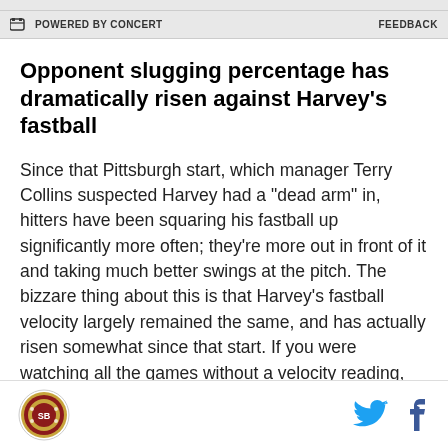POWERED BY CONCERT   FEEDBACK
Opponent slugging percentage has dramatically risen against Harvey's fastball
Since that Pittsburgh start, which manager Terry Collins suspected Harvey had a "dead arm" in, hitters have been squaring his fastball up significantly more often; they're more out in front of it and taking much better swings at the pitch. The bizzare thing about this is that Harvey's fastball velocity largely remained the same, and has actually risen somewhat since that start. If you were watching all the games without a velocity reading, you would think that Harvey's fastball velocity had dropped based on the swings hitters were
Logo | Twitter | Facebook